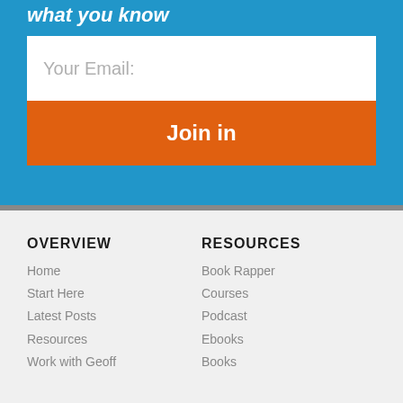what you know
Your Email:
Join in
OVERVIEW
Home
Start Here
Latest Posts
Resources
Work with Geoff
RESOURCES
Book Rapper
Courses
Podcast
Ebooks
Books